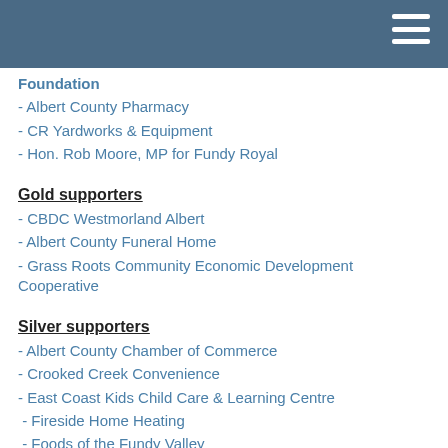Foundation
- Albert County Pharmacy
- CR Yardworks & Equipment
- Hon. Rob Moore, MP for Fundy Royal
Gold supporters
- CBDC Westmorland Albert
- Albert County Funeral Home
- Grass Roots Community Economic Development Cooperative
Silver supporters
- Albert County Chamber of Commerce
- Crooked Creek Convenience
- East Coast Kids Child Care & Learning Centre
- Fireside Home Heating
- Foods of the Fundy Valley